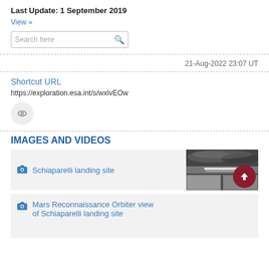Last Update: 1 September 2019
View »
[Figure (screenshot): Search box with magnifying glass icon]
21-Aug-2022 23:07 UT
Shortcut URL
https://exploration.esa.int/s/wxlvEOw
[Figure (other): Eye icon button (circular grey button with eye symbol)]
IMAGES AND VIDEOS
Schiaparelli landing site
[Figure (photo): Black and white aerial/orbital photo of Schiaparelli landing site on Mars, showing surface with debris]
Mars Reconnaissance Orbiter view of Schiaparelli landing site